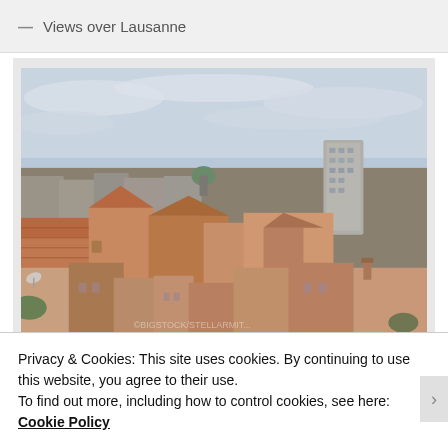— Views over Lausanne
[Figure (photo): Aerial view over the rooftops of Lausanne, Switzerland, showing terracotta-tiled roofs of old buildings with a tall modernist tower in the background under an overcast sky.]
Privacy & Cookies: This site uses cookies. By continuing to use this website, you agree to their use.
To find out more, including how to control cookies, see here: Cookie Policy
Close and accept